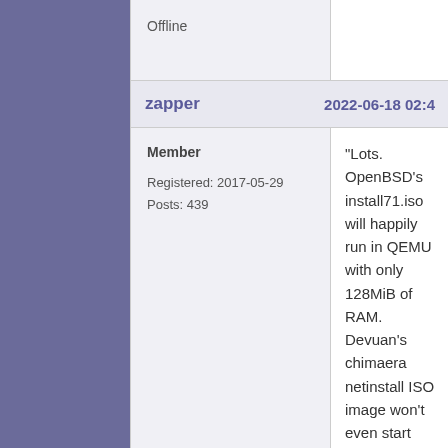Offline
zapper   2022-06-18 02:4
Member
Registered: 2017-05-29
Posts: 439
"Lots. OpenBSD's install71.iso will happily run in QEMU with only 128MiB of RAM. Devuan's chimaera netinstall ISO image won't even start with so little memory available.

OpenBSD is the absolute